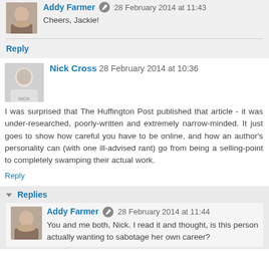Addy Farmer 28 February 2014 at 11:43
Cheers, Jackie!
Reply
Nick Cross 28 February 2014 at 10:36
I was surprised that The Huffington Post published that article - it was under-researched, poorly-written and extremely narrow-minded. It just goes to show how careful you have to be online, and how an author's personality can (with one ill-advised rant) go from being a selling-point to completely swamping their actual work.
Reply
Replies
Addy Farmer 28 February 2014 at 11:44
You and me both, Nick. I read it and thought, is this person actually wanting to sabotage her own career?